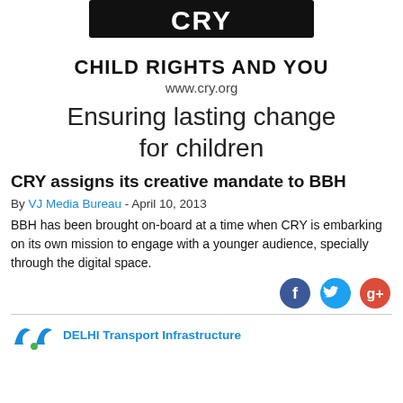[Figure (logo): CRY - Child Rights and You logo with black banner and stylized CRY lettering]
www.cry.org
Ensuring lasting change for children
CRY assigns its creative mandate to BBH
By VJ Media Bureau - April 10, 2013
BBH has been brought on-board at a time when CRY is embarking on its own mission to engage with a younger audience, specially through the digital space.
[Figure (logo): Social media icons: Facebook, Twitter, Google+]
[Figure (logo): Delhi Transport Infrastructure logo at bottom]